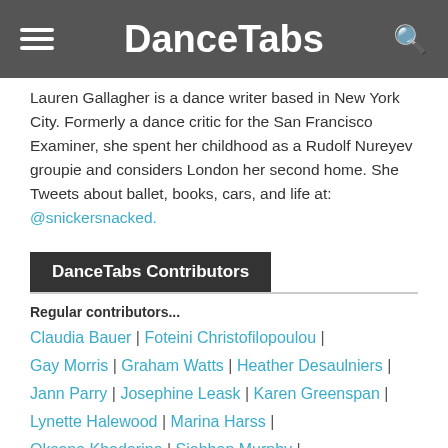DanceTabs
Lauren Gallagher is a dance writer based in New York City. Formerly a dance critic for the San Francisco Examiner, she spent her childhood as a Rudolf Nureyev groupie and considers London her second home. She Tweets about ballet, books, cars, and life at: @snickersnacked.
DanceTabs Contributors
Regular contributors...
Claudia Bauer | Foteini Christofilopoulou | Gay Morris | Graham Watts | Heather Desaulniers | Jann Parry | Josephine Leask | Karen Greenspan | Lynette Halewood | Marina Harss | Oksana Khadarina | Siobhan Murphy |